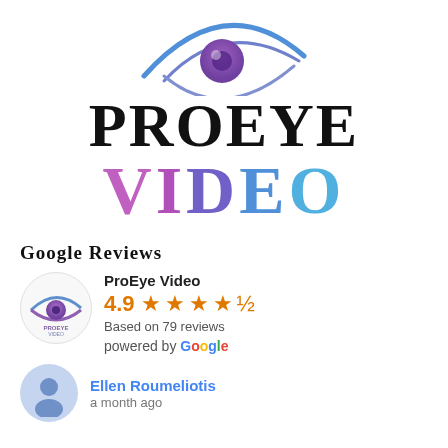[Figure (logo): ProEye Video eye logo icon at top center — stylized eye with purple iris and blue eyelid curves]
PROEYE VIDEO
Google Reviews
[Figure (logo): ProEye Video small circular logo thumbnail]
ProEye Video
4.9 ★★★★½
Based on 79 reviews
powered by Google
Ellen Roumeliotis
a month ago